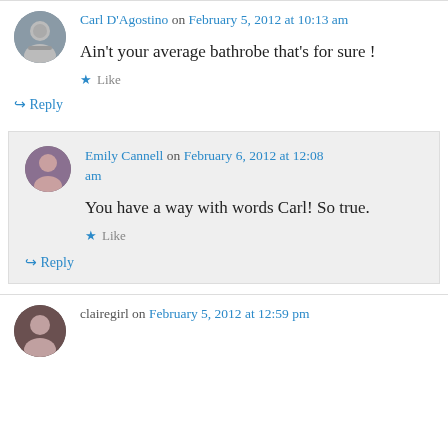Carl D'Agostino on February 5, 2012 at 10:13 am
Ain't your average bathrobe that's for sure !
Like
Reply
Emily Cannell on February 6, 2012 at 12:08 am
You have a way with words Carl! So true.
Like
Reply
clairegirl on February 5, 2012 at 12:59 pm